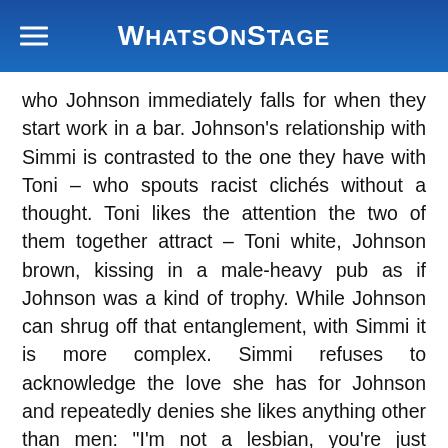WhatsOnStage
who Johnson immediately falls for when they start work in a bar. Johnson's relationship with Simmi is contrasted to the one they have with Toni – who spouts racist clichés without a thought. Toni likes the attention the two of them together attract – Toni white, Johnson brown, kissing in a male-heavy pub as if Johnson was a kind of trophy. While Johnson can shrug off that entanglement, with Simmi it is more complex. Simmi refuses to acknowledge the love she has for Johnson and repeatedly denies she likes anything other than men: "I'm not a lesbian, you're just special". It's a relationship that lays bare both how Simmi is fearful of breaking out of our gender and sexuality norms and how hard that then is for someone like